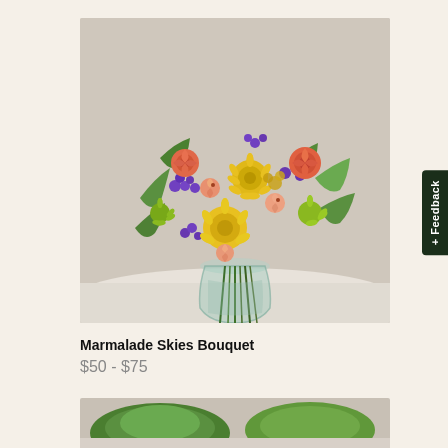[Figure (photo): A floral bouquet called Marmalade Skies Bouquet arranged in a clear glass vase, featuring yellow chrysanthemums, orange/peach roses, pink alstroemeria, purple statice, and green foliage on a beige/grey background.]
Marmalade Skies Bouquet
$50 - $75
[Figure (photo): Partial view of another floral arrangement visible at the bottom of the page — appears to show green foliage and flowers.]